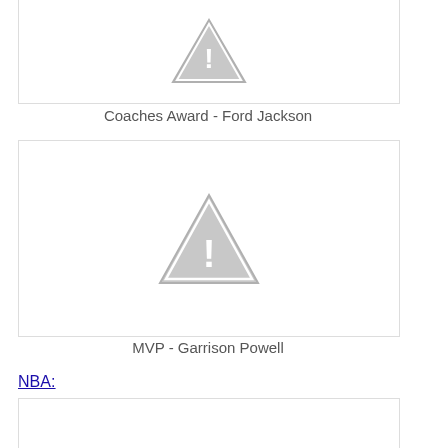[Figure (photo): Image placeholder with warning triangle icon - Coaches Award photo]
Coaches Award - Ford Jackson
[Figure (photo): Image placeholder with warning triangle icon - MVP photo]
MVP - Garrison Powell
NBA:
[Figure (photo): Image placeholder - NBA section photo (partially visible)]